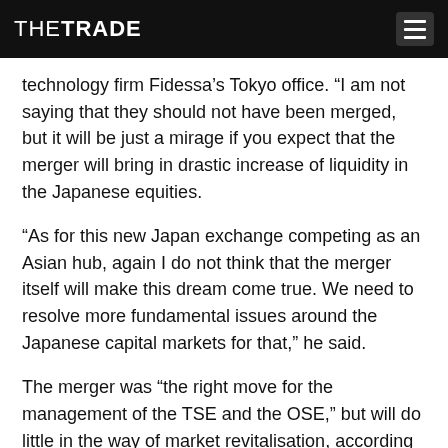THETRADE
technology firm Fidessa’s Tokyo office. “I am not saying that they should not have been merged, but it will be just a mirage if you expect that the merger will bring in drastic increase of liquidity in the Japanese equities.
“As for this new Japan exchange competing as an Asian hub, again I do not think that the merger itself will make this dream come true. We need to resolve more fundamental issues around the Japanese capital markets for that,” he said.
The merger was “the right move for the management of the TSE and the OSE,” but will do little in the way of market revitalisation, according to Matsubara.
Japan’s two main proprietary trading systems (PTSs) Chi-X